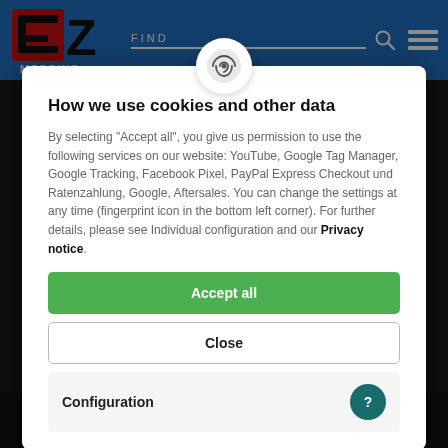EZ Modding — FIND [search bar with icon and hamburger menu]
[Figure (logo): EZ Modding logo: red and black stylized 'EZ' letters with 'MODDING' text below, on blue header background]
How we use cookies and other data
By selecting "Accept all", you give us permission to use the following services on our website: YouTube, Google Tag Manager, Google Tracking, Facebook Pixel, PayPal Express Checkout und Ratenzahlung, Google, Aftersales. You can change the settings at any time (fingerprint icon in the bottom left corner). For further details, please see Individual configuration and our Privacy notice.
Accept all
Close
Configuration